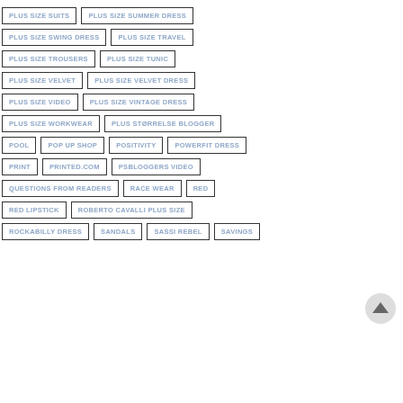PLUS SIZE SUITS
PLUS SIZE SUMMER DRESS
PLUS SIZE SWING DRESS
PLUS SIZE TRAVEL
PLUS SIZE TROUSERS
PLUS SIZE TUNIC
PLUS SIZE VELVET
PLUS SIZE VELVET DRESS
PLUS SIZE VIDEO
PLUS SIZE VINTAGE DRESS
PLUS SIZE WORKWEAR
PLUS STØRRELSE BLOGGER
POOL
POP UP SHOP
POSITIVITY
POWERFIT DRESS
PRINT
PRINTED.COM
PSBLOGGERS VIDEO
QUESTIONS FROM READERS
RACE WEAR
RED
RED LIPSTICK
ROBERTO CAVALLI PLUS SIZE
ROCKABILLY DRESS
SANDALS
SASSI REBEL
SAVINGS